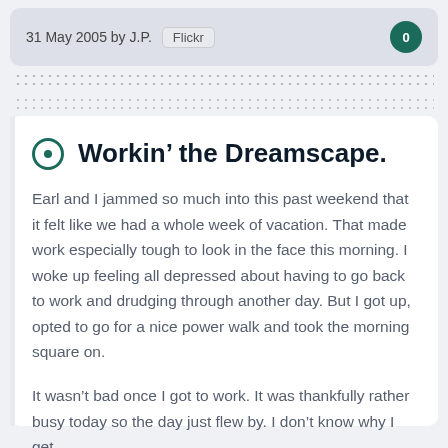31 May 2005 by J.P.  Flickr  0
Workin’ the Dreamscape.
Earl and I jammed so much into this past weekend that it felt like we had a whole week of vacation. That made work especially tough to look in the face this morning. I woke up feeling all depressed about having to go back to work and drudging through another day. But I got up, opted to go for a nice power walk and took the morning square on.
It wasn’t bad once I got to work. It was thankfully rather busy today so the day just flew by. I don’t know why I get